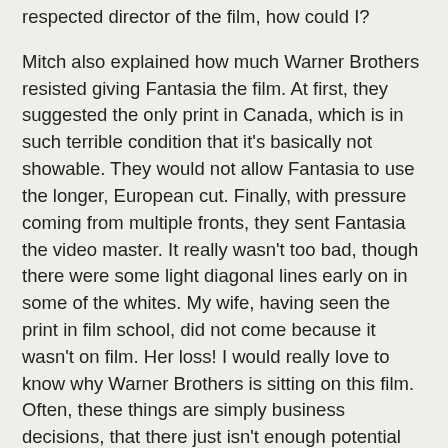respected director of the film, how could I?
Mitch also explained how much Warner Brothers resisted giving Fantasia the film. At first, they suggested the only print in Canada, which is in such terrible condition that it's basically not showable. They would not allow Fantasia to use the longer, European cut. Finally, with pressure coming from multiple fronts, they sent Fantasia the video master. It really wasn't too bad, though there were some light diagonal lines early on in some of the whites. My wife, having seen the print in film school, did not come because it wasn't on film. Her loss! I would really love to know why Warner Brothers is sitting on this film. Often, these things are simply business decisions, that there just isn't enough potential commercial value for them to make the effort to remaster and re-release it. But there was a lot of controversy around this film and it is a very direct attack on organized religion and power and I would not be surprised if there are lobby groups waiting in the wings to give anyone trouble who wants to release it again.
Also, I sat next to a stylish couple who had won the tickets